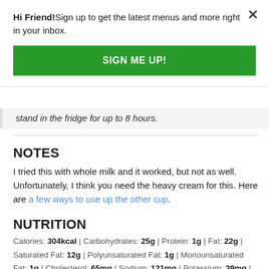Hi Friend!Sign up to get the latest menus and more right in your inbox.
SIGN ME UP!
stand in the fridge for up to 8 hours.
NOTES
I tried this with whole milk and it worked, but not as well. Unfortunately, I think you need the heavy cream for this. Here are a few ways to use up the other cup.
NUTRITION
Calories: 304kcal | Carbohydrates: 25g | Protein: 1g | Fat: 22g | Saturated Fat: 12g | Polyunsaturated Fat: 1g | Monounsaturated Fat: 1g | Cholesterol: 65mg | Sodium: 121mg | Potassium: 39mg | Fiber: 1g | Sugar: 17g | Vitamin A: 650IU | Calcium: 30mg | Iron: 0.5mg